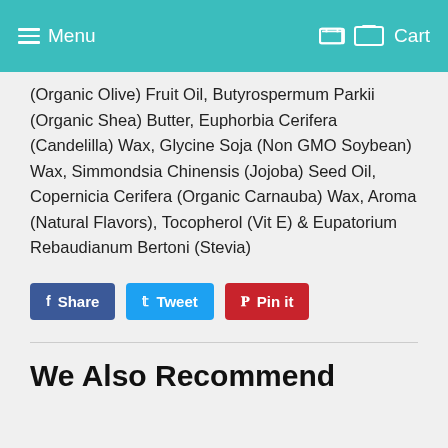Menu   Cart
(Organic Olive) Fruit Oil, Butyrospermum Parkii (Organic Shea) Butter, Euphorbia Cerifera (Candelilla) Wax, Glycine Soja (Non GMO Soybean) Wax, Simmondsia Chinensis (Jojoba) Seed Oil, Copernicia Cerifera (Organic Carnauba) Wax, Aroma (Natural Flavors), Tocopherol (Vit E) & Eupatorium Rebaudianum Bertoni (Stevia)
[Figure (infographic): Social share buttons: Facebook Share, Twitter Tweet, Pinterest Pin it]
We Also Recommend